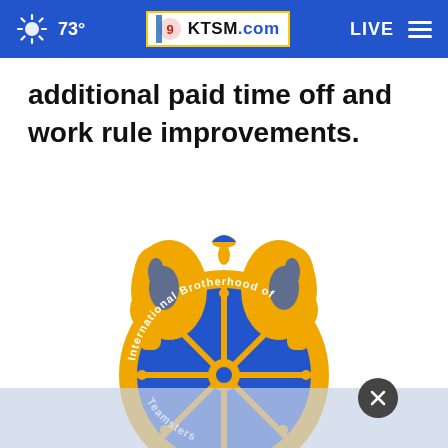73° KTSM.com LIVE
additional paid time off and work rule improvements.
[Figure (logo): International Brotherhood of Teamsters logo — two horses' heads flanking a steering wheel with the text 'International Brotherhood of Teamsters' curved around the wheel, in blue and gold colors.]